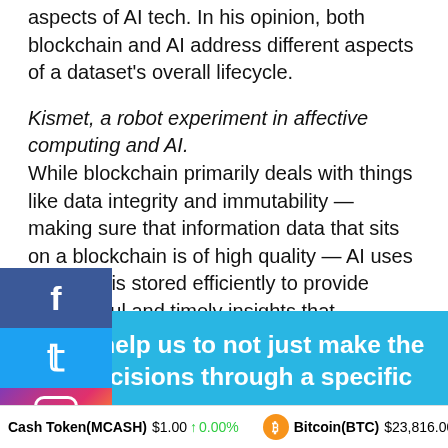open World 3D metaverse gaming platform that utilizes aspects of AI tech. In his opinion, both blockchain and AI address different aspects of a dataset's overall lifecycle.
Kismet, a robot experiment in affective computing and AI. While blockchain primarily deals with things like data integrity and immutability — making sure that information data that sits on a blockchain is of high quality — AI uses data that is stored efficiently to provide meaningful and timely insights that researchers, analysts and developers can act on. Channakumar added:
AI can help us to not just make the right decisions through a specific
Cash Token(MCASH) $1.00 ↑ 0.00%   Bitcoin(BTC) $23,816.00